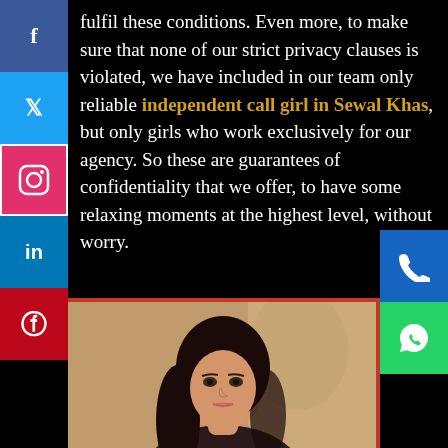fulfil these conditions. Even more, to make sure that none of our strict privacy clauses is violated, we have included in our team only reliable independent call girl in Sewal Khas, but only girls who work exclusively for our agency. So these are guarantees of confidentiality that we offer, to have some relaxing moments at the highest level, without worry.
[Figure (photo): Portrait photo of a young woman with long dark hair, looking over her shoulder, with a blurred architectural background]